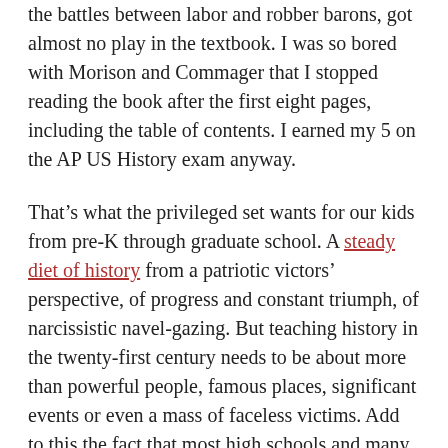the battles between labor and robber barons, got almost no play in the textbook. I was so bored with Morison and Commager that I stopped reading the book after the first eight pages, including the table of contents. I earned my 5 on the AP US History exam anyway.
That’s what the privileged set wants for our kids from pre-K through graduate school. A steady diet of history from a patriotic victors’ perspective, of progress and constant triumph, of narcissistic navel-gazing. But teaching history in the twenty-first century needs to be about more than powerful people, famous places, significant events or even a mass of faceless victims. Add to this the fact that most high schools and many undergraduate programs still teach US, European and most aspects of history around the world as if the subject was a trivia game like